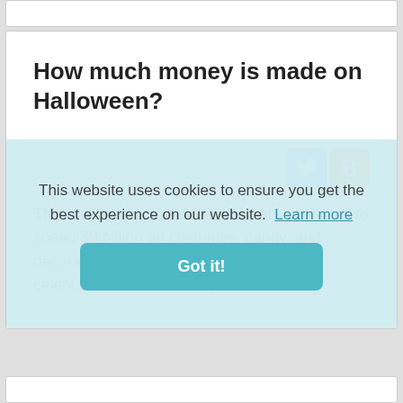How much money is made on Halloween?
[Figure (infographic): Social media share icons: Twitter (blue) and Blogger (orange)]
This holiday season, Americans are projected to spend $9 billion on costumes, candy, and decorations. Seven in 10 Americans will celebrate Halloween this year.
This website uses cookies to ensure you get the best experience on our website. Learn more
Got it!